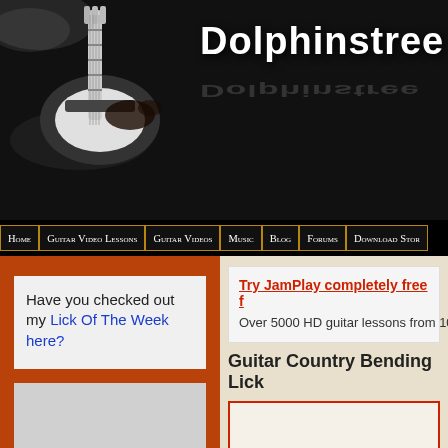[Figure (illustration): Website header with black background, electric guitar photo on left, and 'Dolphinstree' site title text on right with reflection effect]
Dolphinstree
Home | Guitar Video Lessons | Guitar Videos | Music | Blog | Forums | Download Stor
Have you checked out my Lick Of The Week here?
Try JamPlay completely free f
Over 5000 HD guitar lessons from 100+
Guitar Country Bending Lick